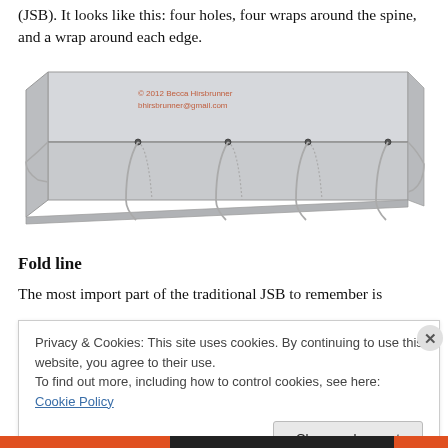(JSB). It looks like this: four holes, four wraps around the spine, and a wrap around each edge.
[Figure (illustration): A 3D illustration of a book binding showing a rectangular block (book) with four sewing holes along the bottom spine edge, with thread wrapping through each hole and around the spine and edges. Copyright 2012 Becca Hirsbrunner, bhirsbrunner@gmail.com]
Fold line
The most import part of the traditional JSB to remember is
Privacy & Cookies: This site uses cookies. By continuing to use this website, you agree to their use.
To find out more, including how to control cookies, see here: Cookie Policy
Close and accept